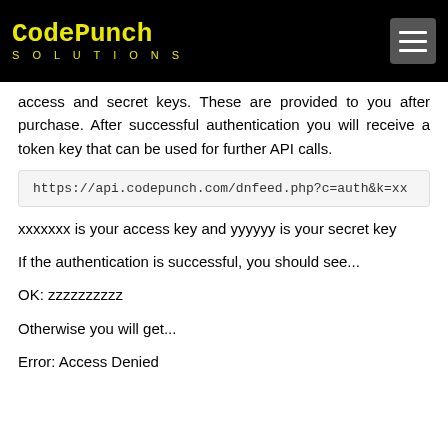CodePunch SOLUTIONS
access and secret keys. These are provided to you after purchase. After successful authentication you will receive a token key that can be used for further API calls.
https://api.codepunch.com/dnfeed.php?c=auth&k=xx
xxxxxxx is your access key and yyyyyy is your secret key
If the authentication is successful, you should see...
OK: zzzzzzzzzz
Otherwise you will get...
Error: Access Denied